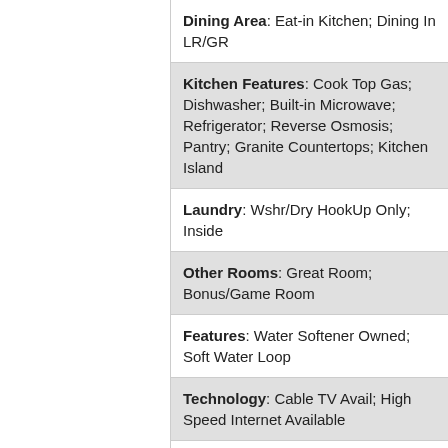| Dining Area: Eat-in Kitchen; Dining In LR/GR |
| Kitchen Features: Cook Top Gas; Dishwasher; Built-in Microwave; Refrigerator; Reverse Osmosis; Pantry; Granite Countertops; Kitchen Island |
| Laundry: Wshr/Dry HookUp Only; Inside |
| Other Rooms: Great Room; Bonus/Game Room |
| Features: Water Softener Owned; Soft Water Loop |
| Technology: Cable TV Avail; High Speed Internet Available |
| Exterior Features: Patio; Covered Patio(s) |
| Parking Features: Electric Door Opener |
| Construction: Frame - Wood |